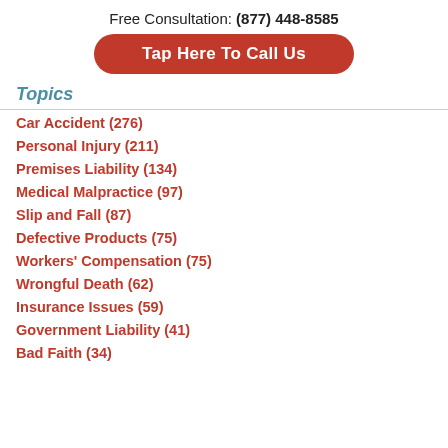Free Consultation: (877) 448-8585
Tap Here To Call Us
Topics
Car Accident (276)
Personal Injury (211)
Premises Liability (134)
Medical Malpractice (97)
Slip and Fall (87)
Defective Products (75)
Workers' Compensation (75)
Wrongful Death (62)
Insurance Issues (59)
Government Liability (41)
Bad Faith (34)